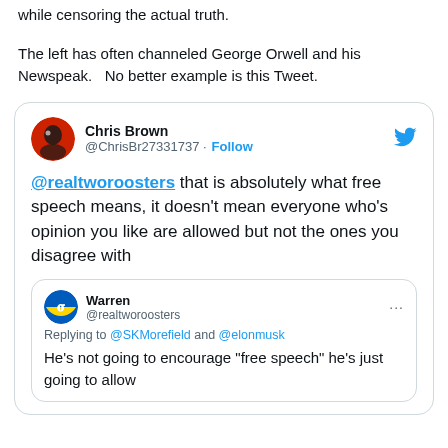while censoring the actual truth.
The left has often channeled George Orwell and his Newspeak.  No better example is this Tweet.
[Figure (screenshot): Screenshot of a tweet by Chris Brown (@ChrisBr27331737) with a Follow button and Twitter bird icon. The tweet text reads: '@realtworoosters that is absolutely what free speech means, it doesn't mean everyone who's opinion you like are allowed but not the ones you disagree with'. It contains a quoted tweet by Warren (@realtworoosters) replying to @SKMorefield and @elonmusk, which reads: 'He's not going to encourage "free speech" he's just going to allow']